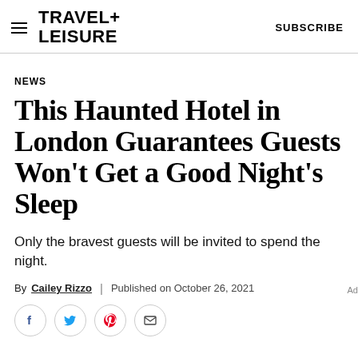TRAVEL+ LEISURE   SUBSCRIBE
NEWS
This Haunted Hotel in London Guarantees Guests Won't Get a Good Night's Sleep
Only the bravest guests will be invited to spend the night.
By Cailey Rizzo | Published on October 26, 2021
[Figure (other): Social sharing icons: Facebook, Twitter, Pinterest, Email]